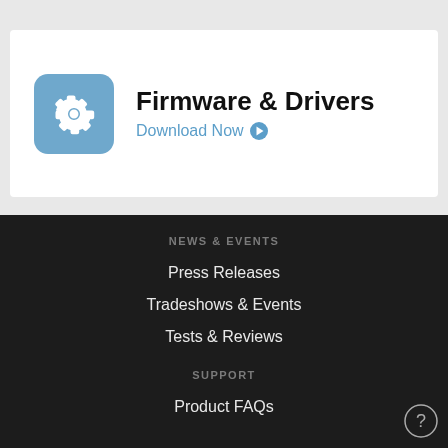[Figure (logo): Blue rounded square icon with a white gear/settings cog symbol]
Firmware & Drivers
Download Now ▶
NEWS & EVENTS
Press Releases
Tradeshows & Events
Tests & Reviews
SUPPORT
Product FAQs